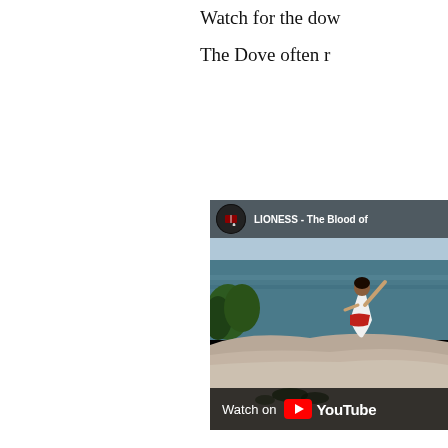Watch for the dow
The Dove often r
[Figure (screenshot): YouTube video thumbnail showing a woman in a white dress with a red sash standing on a rocky outcrop with arms raised, overlooking a large body of water. The video is titled 'LIONESS - The Blood of...' with a channel icon visible. Bottom bar shows 'Watch on YouTube'.]